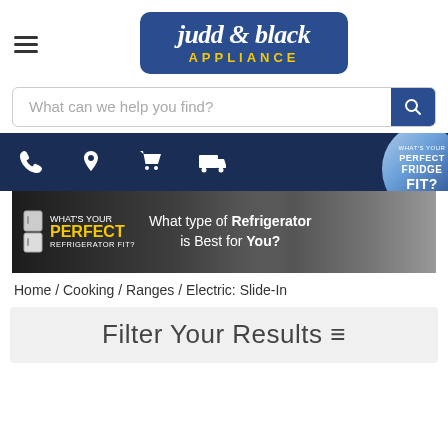[Figure (logo): Judd & Black Appliance logo — white serif text on dark blue rounded rectangle background with yellow 'APPLIANCE' subtitle]
What can we help you find?
[Figure (infographic): Dark navy navigation bar with white icons: phone, location pin, shopping cart, delivery truck]
[Figure (infographic): Banner ad: 'What's Your Perfect Refrigerator Fit? What type of Refrigerator is Best for You?' with refrigerator images and circular badge]
Home / Cooking / Ranges / Electric: Slide-In
Filter Your Results ≡